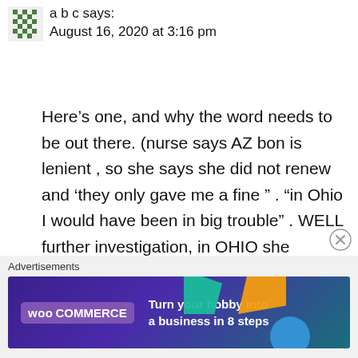a b c says:
August 16, 2020 at 3:16 pm
Here’s one, and why the word needs to be out there. (nurse says AZ bon is lenient , so she says she did not renew and ‘they only gave me a fine ” . “in Ohio I would have been in big trouble” . WELL further investigation, in OHIO she
Advertisements
[Figure (screenshot): WooCommerce advertisement banner: dark purple/teal gradient background with WooCommerce logo on left, text 'Turn your hobby into a business in 8 steps' in white, colorful geometric shapes on the right.]